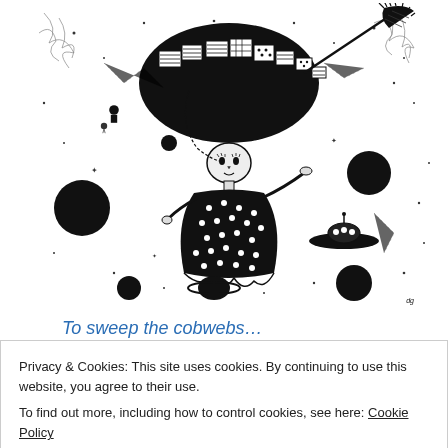[Figure (illustration): Black and white ink illustration of a witch or fantasy figure floating in space, wearing a large decorative hat/headdress and a polka-dot dress, holding a broom, surrounded by planets, stars, small spaceships and cosmic elements]
To sweep the cobwebs…
by steeringforearth
Privacy & Cookies: This site uses cookies. By continuing to use this website, you agree to their use.
To find out more, including how to control cookies, see here: Cookie Policy